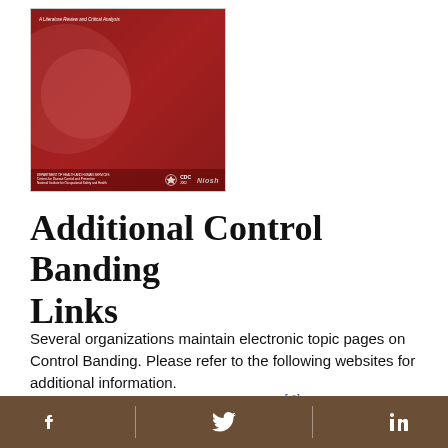[Figure (illustration): NIOSH/CDC publication cover image with dark red background, circular design elements, subtitle text 'A Literature Review and Critical Analysis', and CDC/NIOSH logos at bottom]
Additional Control Banding Links
Several organizations maintain electronic topic pages on Control Banding. Please refer to the following websites for additional information.
AIHA Control Banding Working Group [external link]
Social media icons: Facebook, Twitter, LinkedIn